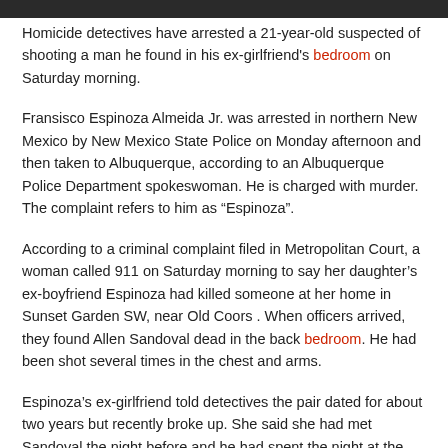Homicide detectives have arrested a 21-year-old suspected of shooting a man he found in his ex-girlfriend's bedroom on Saturday morning.
Fransisco Espinoza Almeida Jr. was arrested in northern New Mexico by New Mexico State Police on Monday afternoon and then taken to Albuquerque, according to an Albuquerque Police Department spokeswoman. He is charged with murder. The complaint refers to him as “Espinoza”.
According to a criminal complaint filed in Metropolitan Court, a woman called 911 on Saturday morning to say her daughter’s ex-boyfriend Espinoza had killed someone at her home in Sunset Garden SW, near Old Coors . When officers arrived, they found Allen Sandoval dead in the back bedroom. He had been shot several times in the chest and arms.
Espinoza’s ex-girlfriend told detectives the pair dated for about two years but recently broke up. She said she had met Sandoval the night before and he had spent the night at the house she shared with her mother.